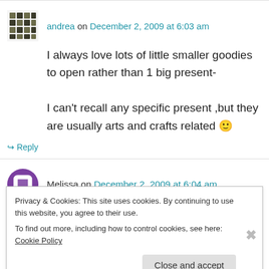andrea on December 2, 2009 at 6:03 am
I always love lots of little smaller goodies to open rather than 1 big present-
I can't recall any specific present ,but they are usually arts and crafts related 🙂
↳ Reply
Melissa on December 2, 2009 at 6:04 am
Privacy & Cookies: This site uses cookies. By continuing to use this website, you agree to their use.
To find out more, including how to control cookies, see here: Cookie Policy
Close and accept